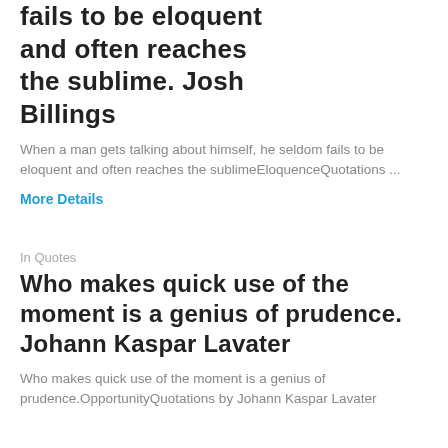fails to be eloquent and often reaches the sublime. Josh Billings
When a man gets talking about himself, he seldom fails to be eloquent and often reaches the sublimeEloquenceQuotations ...
More Details
In Quotes
Who makes quick use of the moment is a genius of prudence. Johann Kaspar Lavater
Who makes quick use of the moment is a genius of prudence.OpportunityQuotations by Johann Kaspar Lavater